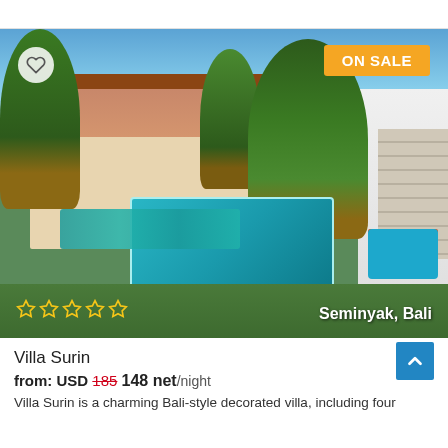[Figure (photo): Outdoor villa photo showing a Bali-style property with a rectangular swimming pool surrounded by teal sun loungers, lush tropical trees and palms, a two-storey red-tiled villa building, a white wall with climbing plants, a staircase on the right side, and colorful bean-bag seating area. Blue 'ON SALE' badge in top right corner, heart/favorite icon in top left. Five outlined stars and 'Seminyak, Bali' text overlaid at the bottom of the photo.]
Villa Surin
from: USD 185 148 net/night
Villa Surin is a charming Bali-style decorated villa, including four